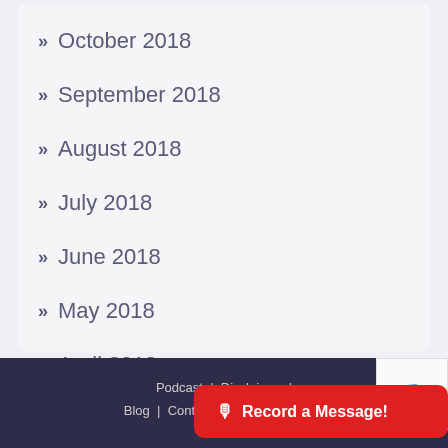» October 2018
» September 2018
» August 2018
» July 2018
» June 2018
» May 2018
» April 2018
Podcast | Disclaimer | Blog | Contact Us | Merchandise